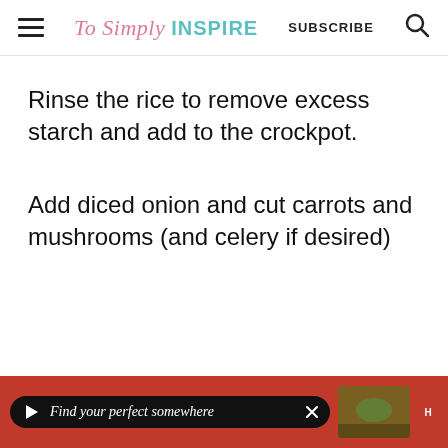To Simply INSPIRE  SUBSCRIBE
Rinse the rice to remove excess starch and add to the crockpot.
Add diced onion and cut carrots and mushrooms (and celery if desired)
[Figure (other): Advertisement banner: dark pill-shaped bar with play button, text 'Find your perfect somewhere', thumbnail image, and close button, on red background]